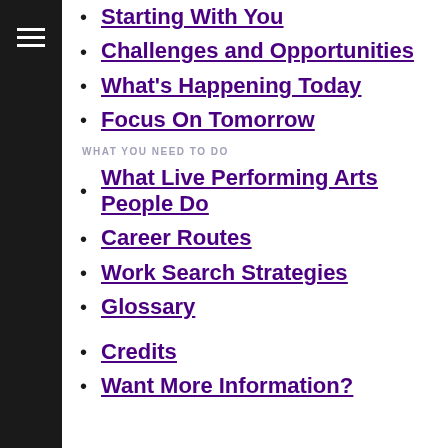Starting With You
Challenges and Opportunities
What's Happening Today
Focus On Tomorrow
WHAT YOU NEED TO DO
What Live Performing Arts People Do
Career Routes
Work Search Strategies
Glossary
Credits
Want More Information?